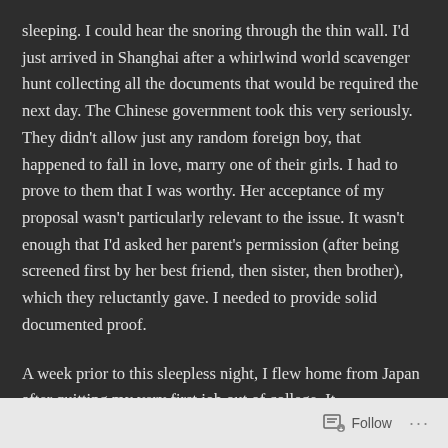sleeping. I could hear the snoring through the thin wall. I'd just arrived in Shanghai after a whirlwind world scavenger hunt collecting all the documents that would be required the next day. The Chinese government took this very seriously. They didn't allow just any random foreign boy, that happened to fall in love, marry one of their girls. I had to prove to them that I was worthy. Her acceptance of my proposal wasn't particularly relevant to the issue. It wasn't enough that I'd asked her parent's permission (after being screened first by her best friend, then sister, then brother), which they reluctantly gave. I needed to provide solid documented proof.
A week prior to this sleepless night, I flew home from Japan after quitting my very first job out of college. It
Follow ···